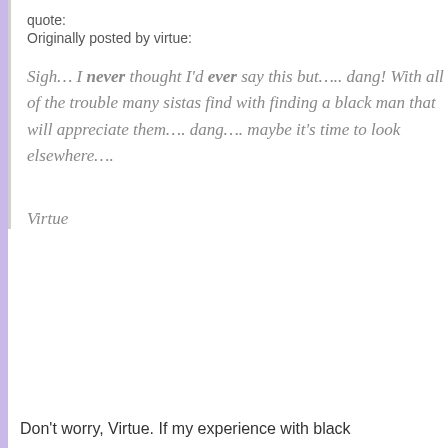quote:
Originally posted by virtue:
Sigh… I never thought I'd ever say this but….. dang! With all of the trouble many sistas find with finding a black man that will appreciate them…. dang…. maybe it's time to look elsewhere….
Virtue
Don't worry, Virtue. If my experience with black